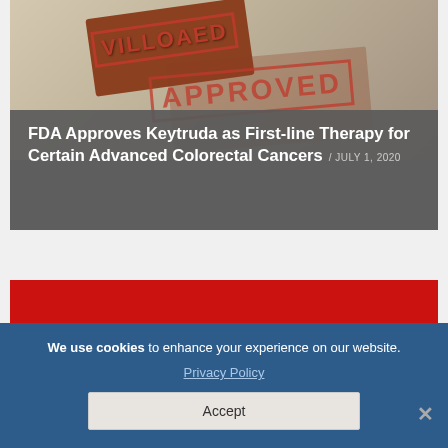[Figure (photo): Photo of rubber stamps with 'APPROVED' text stamped in red ink on a wooden block, set against a neutral background.]
FDA Approves Keytruda as First-line Therapy for Certain Advanced Colorectal Cancers / JULY 1, 2020
[Figure (photo): Red background image with large white numbers partially visible (appears to show '10' or similar) and a pink box in the lower right corner.]
We use cookies to enhance your experience on our website. Privacy Policy
Accept